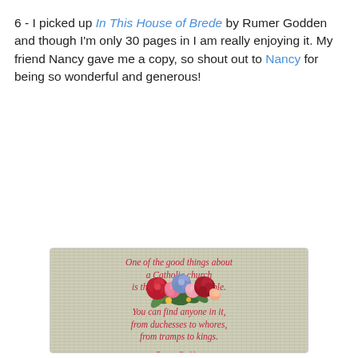6 - I picked up In This House of Brede by Rumer Godden and though I'm only 30 pages in I am really enjoying it. My friend Nancy gave me a copy, so shout out to Nancy for being so wonderful and generous!
[Figure (illustration): Decorative quote image on a linen-textured background with floral arrangement, featuring a quote from Rumer Godden's 'In This House of Brede': 'One of the good things about a Catholic church is that it isn't respectable. You can find anyone in it, from duchesses to whores, from tramps to kings.' Attributed to Rumer Godden, In This House of Brede.]